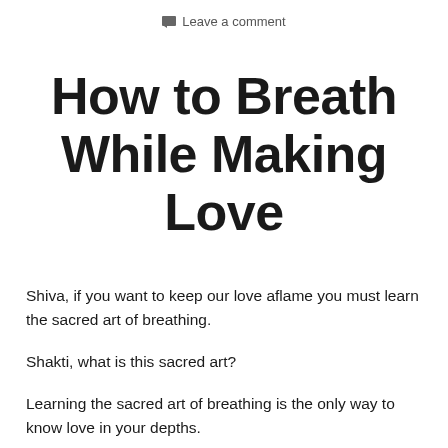Leave a comment
How to Breath While Making Love
Shiva, if you want to keep our love aflame you must learn the sacred art of breathing.
Shakti, what is this sacred art?
Learning the sacred art of breathing is the only way to know love in your depths.